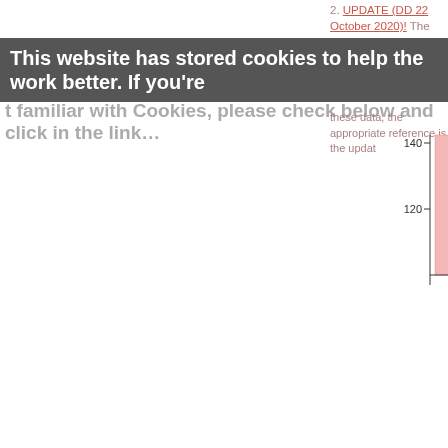2. UPDATE (DD 22 October 2020)! The annual pa... these data, the appropriate reference is the updat...
This website has stored cookies to help the work better. If you're
t familiar with Cookies, please check below and click in the link...
[Figure (bar-chart): ]